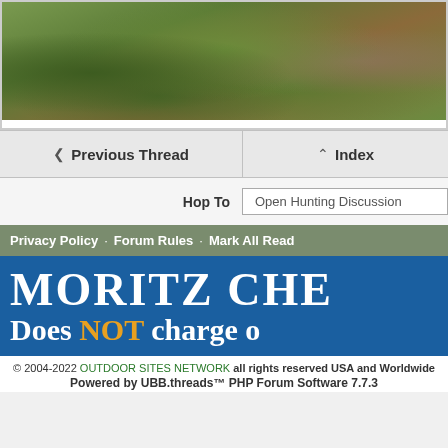[Figure (photo): Outdoor nature photo showing dense green brush, scrub vegetation, and a reddish-brown tree trunk in a natural landscape]
❮ Previous Thread   ∧ Index
Hop To   Open Hunting Discussion
Privacy Policy · Forum Rules · Mark All Read
[Figure (illustration): MORITZ CHE... Does NOT charge o... - advertising banner with blue background, white bold serif text and orange NOT]
© 2004-2022 OUTDOOR SITES NETWORK all rights reserved USA and Worldwide
Powered by UBB.threads™ PHP Forum Software 7.7.3